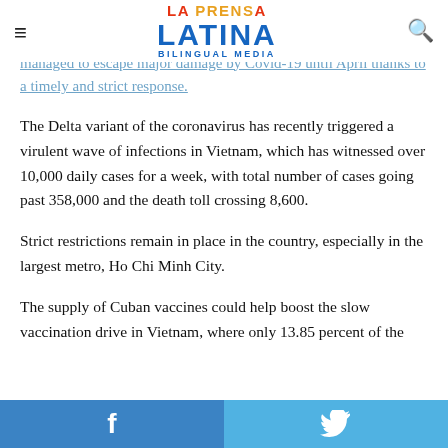La Prensa Latina Bilingual Media
infections and Around 4,000 deaths on the island
The virus has wreaked havoc in Vietnam, although the country has managed to escape major damage by Covid-19 until April thanks to a timely and strict response.
The Delta variant of the coronavirus has recently triggered a virulent wave of infections in Vietnam, which has witnessed over 10,000 daily cases for a week, with total number of cases going past 358,000 and the death toll crossing 8,600.
Strict restrictions remain in place in the country, especially in the largest metro, Ho Chi Minh City.
The supply of Cuban vaccines could help boost the slow vaccination drive in Vietnam, where only 13.85 percent of the
Facebook Twitter social share buttons